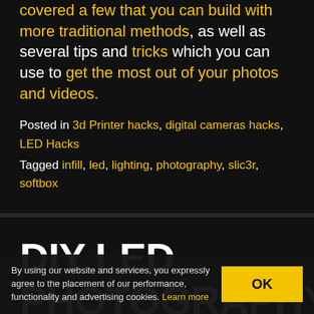covered a few that you can build with more traditional methods, as well as several tips and tricks which you can use to get the most out of your photos and videos.
Posted in 3d Printer hacks, digital cameras hacks, LED Hacks
Tagged infill, led, lighting, photography, slic3r, softbox
DIY LED PHOTOGRAPHY
By using our website and services, you expressly agree to the placement of our performance, functionality and advertising cookies. Learn more